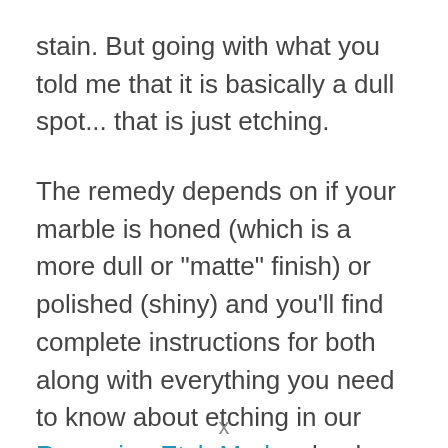stain. But going with what you told me that it is basically a dull spot... that is just etching.
The remedy depends on if your marble is honed (which is a more dull or "matte" finish) or polished (shiny) and you'll find complete instructions for both along with everything you need to know about etching in our Removing Etch Marks ebook.
If you really want to know everything A to Z